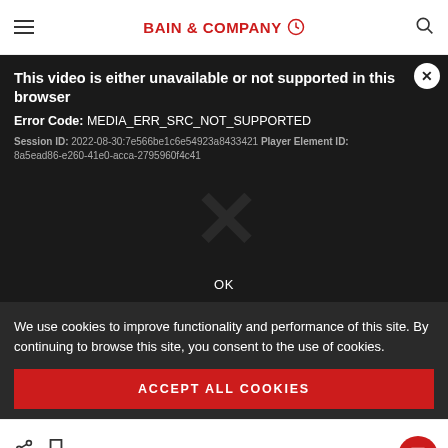BAIN & COMPANY
[Figure (screenshot): Video player error dialog on dark background showing: 'This video is either unavailable or not supported in this browser', Error Code: MEDIA_ERR_SRC_NOT_SUPPORTED, Session ID: 2022-08-30:7e566be1c6e54923a8433421 Player Element ID: 8a5ead86-e260-41e0-acca-2795960f4c41, with X watermark and OK button]
We use cookies to improve functionality and performance of this site. By continuing to browse this site, you consent to the use of cookies.
ACCEPT ALL COOKIES